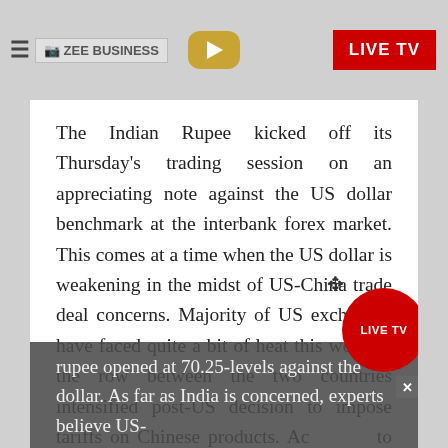ZEE BUSINESS | LIVE TV
The Indian Rupee kicked off its Thursday's trading session on an appreciating note against the US dollar benchmark at the interbank forex market. This comes at a time when the US dollar is weakening in the midst of US-China trade deal concerns. Majority of US exchanges have faced quite a bit of heat this week as the row between the two countries intensified post-US decision to impose tariffs on Chinese products. According to Investing.com, the Indian rupee was trading at 70.156, appreciating by 0.067 points or 0.11% against the dollar at around 1350 hours. The rupee opened at 70.25-levels against the dollar. As far as India is concerned, experts believe US-